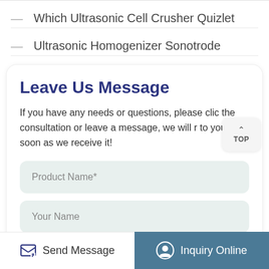Which Ultrasonic Cell Crusher Quizlet
Ultrasonic Homogenizer Sonotrode
Leave Us Message
If you have any needs or questions, please click the consultation or leave a message, we will reply to you as soon as we receive it!
Product Name*
Your Name
Send Message
Inquiry Online